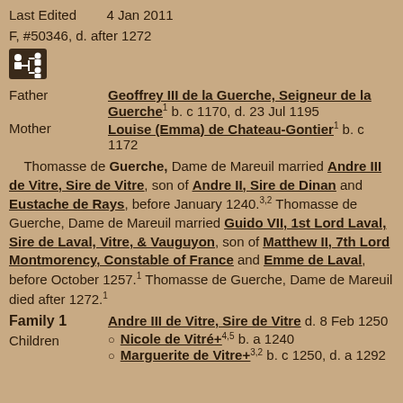Last Edited    4 Jan 2011
F, #50346, d. after 1272
[Figure (other): Small icon showing a person/genealogy node symbol, dark box with white branching icon]
Father    Geoffrey III de la Guerche, Seigneur de la Guerche¹ b. c 1170, d. 23 Jul 1195
Mother    Louise (Emma) de Chateau-Gontier¹ b. c 1172
Thomasse de Guerche, Dame de Mareuil married Andre III de Vitre, Sire de Vitre, son of Andre II, Sire de Dinan and Eustache de Rays, before January 1240.³˒² Thomasse de Guerche, Dame de Mareuil married Guido VII, 1st Lord Laval, Sire de Laval, Vitre, & Vauguyon, son of Matthew II, 7th Lord Montmorency, Constable of France and Emme de Laval, before October 1257.¹ Thomasse de Guerche, Dame de Mareuil died after 1272.¹
Family 1    Andre III de Vitre, Sire de Vitre d. 8 Feb 1250
Children    Nicole de Vitré+⁴˒⁵ b. a 1240
   Marguerite de Vitre+³˒² b. c 1250, d. a 1292